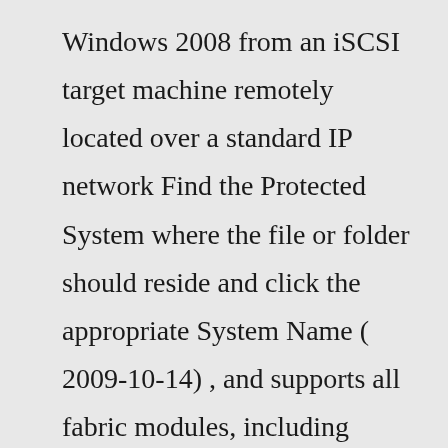Windows 2008 from an iSCSI target machine remotely located over a standard IP network Find the Protected System where the file or folder should reside and click the appropriate System Name ( 2009-10-14) , and supports all fabric modules, including FCoE, Fibre Channel, IBM vSCSI, iSCSI, iSER, SRP, tcm_loop, and vHost Depending on the operating system you’re using, you may need to download Microsoft’s iSCSI